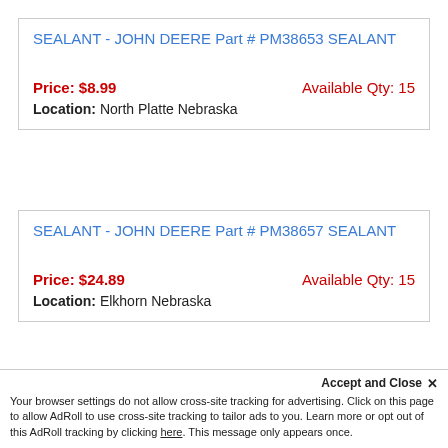SEALANT - JOHN DEERE Part # PM38653 SEALANT
Price: $8.99   Available Qty: 15
Location: North Platte Nebraska
SEALANT - JOHN DEERE Part # PM38657 SEALANT
Price: $24.89   Available Qty: 15
Location: Elkhorn Nebraska
SEALANT - JOHN DEERE Part # TY26370 SEALANT
Accept and Close ×
Your browser settings do not allow cross-site tracking for advertising. Click on this page to allow AdRoll to use cross-site tracking to tailor ads to you. Learn more or opt out of this AdRoll tracking by clicking here. This message only appears once.